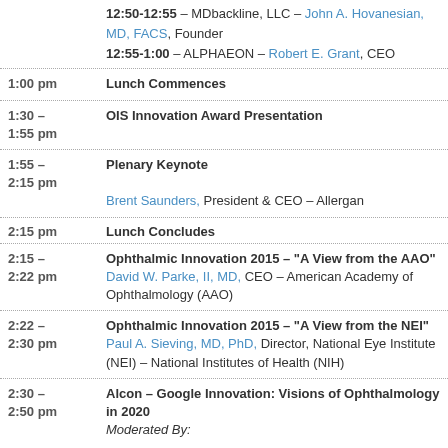12:50-12:55 – MDbackline, LLC – John A. Hovanesian, MD, FACS, Founder
12:55-1:00 – ALPHAEON – Robert E. Grant, CEO
1:00 pm  Lunch Commences
1:30 – 1:55 pm  OIS Innovation Award Presentation
1:55 – 2:15 pm  Plenary Keynote
Brent Saunders, President & CEO – Allergan
2:15 pm  Lunch Concludes
2:15 – 2:22 pm  Ophthalmic Innovation 2015 – "A View from the AAO"
David W. Parke, II, MD, CEO – American Academy of Ophthalmology (AAO)
2:22 – 2:30 pm  Ophthalmic Innovation 2015 – "A View from the NEI"
Paul A. Sieving, MD, PhD, Director, National Eye Institute (NEI) – National Institutes of Health (NIH)
2:30 – 2:50 pm  Alcon – Google Innovation: Visions of Ophthalmology in 2020
Moderated By: